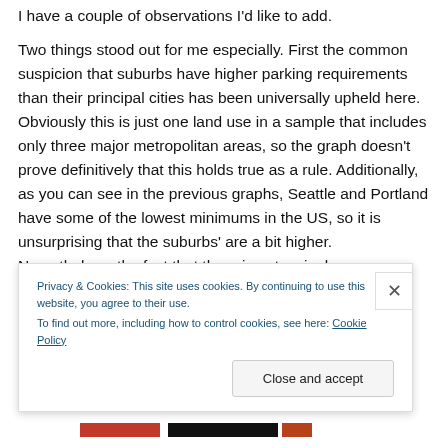I have a couple of observations I'd like to add.
Two things stood out for me especially. First the common suspicion that suburbs have higher parking requirements than their principal cities has been universally upheld here. Obviously this is just one land use in a sample that includes only three major metropolitan areas, so the graph doesn't prove definitively that this holds true as a rule. Additionally, as you can see in the previous graphs, Seattle and Portland have some of the lowest minimums in the US, so it is unsurprising that the suburbs' are a bit higher. Nevertheless, the fact that there is not a single
Privacy & Cookies: This site uses cookies. By continuing to use this website, you agree to their use.
To find out more, including how to control cookies, see here: Cookie Policy
Close and accept